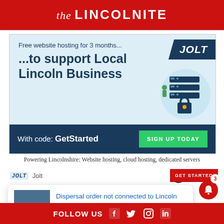the LINCOLNITE
[Figure (illustration): JOLT web hosting advertisement banner: 'Free website hosting for 3 months... ...to support Local Lincoln Business. With code: GetStarted SIGN UP TODAY'. Server illustration on right side. Powering Lincolnshire: Website hosting, cloud hosting, dedicated servers.]
Powering Lincolnshire: Website hosting, cloud hosting, dedicated servers
JOLT  Jolt
Dispersal order not connected to Lincoln Pride, 42 minutes ago
FOLLOW US